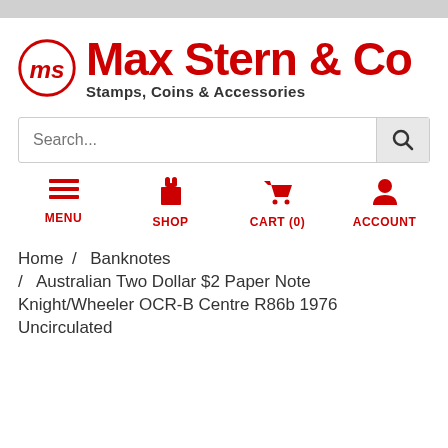[Figure (logo): Max Stern & Co logo — red circle with 'ms' monogram, red bold text 'Max Stern & Co', subtitle 'Stamps, Coins & Accessories']
Search...
MENU  SHOP  CART (0)  ACCOUNT
Home / Banknotes / Australian Two Dollar $2 Paper Note Knight/Wheeler OCR-B Centre R86b 1976 Uncirculated